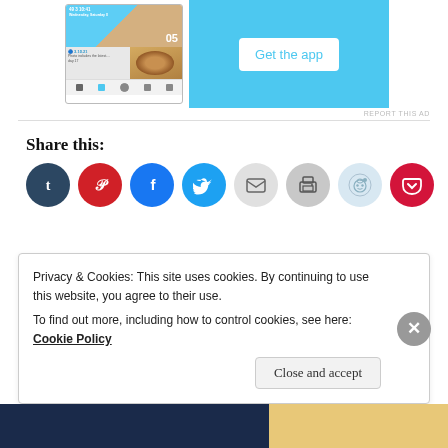[Figure (screenshot): App advertisement banner with phone screenshot and 'Get the app' button on blue background]
REPORT THIS AD
Share this:
[Figure (infographic): Row of social media share buttons: Tumblr, Pinterest, Facebook, Twitter, Email, Print, Reddit, Pocket]
Loading…
Privacy & Cookies: This site uses cookies. By continuing to use this website, you agree to their use.
To find out more, including how to control cookies, see here: Cookie Policy
Close and accept